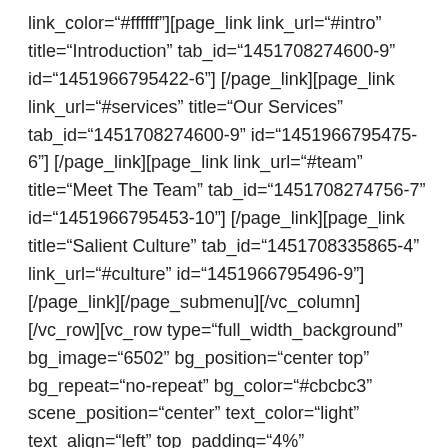link_color="#ffffff"][page_link link_url="#intro" title="Introduction" tab_id="1451708274600-9" id="1451966795422-6"] [/page_link][page_link link_url="#services" title="Our Services" tab_id="1451708274600-9" id="1451966795475-6"] [/page_link][page_link link_url="#team" title="Meet The Team" tab_id="1451708274756-7" id="1451966795453-10"] [/page_link][page_link title="Salient Culture" tab_id="1451708335865-4" link_url="#culture" id="1451966795496-9"] [/page_link][/page_submenu][/vc_column][/vc_row][vc_row type="full_width_background" bg_image="6502" bg_position="center top" bg_repeat="no-repeat" bg_color="#cbcbc3" scene_position="center" text_color="light" text_align="left" top_padding="4%"